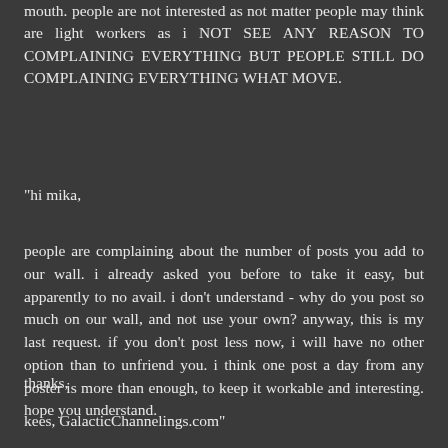mouth. people are not interested as not matter people may think are light workers as i NOT SEE ANY REASON TO COMPLAINING EVERYTHING BUT PEOPLE STILL DO COMPLAINING EVERYTHING WHAT MOVE.
"hi mika,
people are complaining about the number of posts you add to our wall. i already asked you before to take it easy, but apparently to no avail. i don't understand - why do you post so much on our wall, and not use your own? anyway, this is my last request. if you don't post less now, i will have no other option than to unfriend you. i think one post a day from any poster is more than enough, to keep it workable and interesting. hope you understand.
thanks,
kees, GalacticChannelings.com"